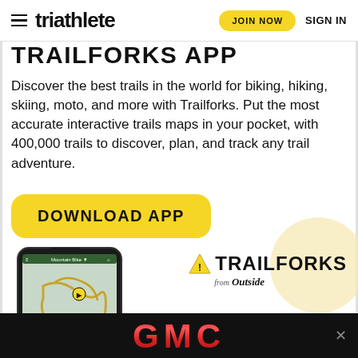triathlete | JOIN NOW | SIGN IN
TRAILFORKS APP
Discover the best trails in the world for biking, hiking, skiing, moto, and more with Trailforks. Put the most accurate interactive trails maps in your pocket, with 400,000 trails to discover, plan, and track any trail adventure.
[Figure (other): Yellow rounded rectangle button with bold uppercase text DOWNLOAD APP]
[Figure (screenshot): Smartphone showing Trailforks trail map app with yellow trail routes on map, alongside Trailforks logo with triangle warning icon and 'from Outside' subtitle]
[Figure (logo): GMC logo in red gradient letters on black banner background with close X button]